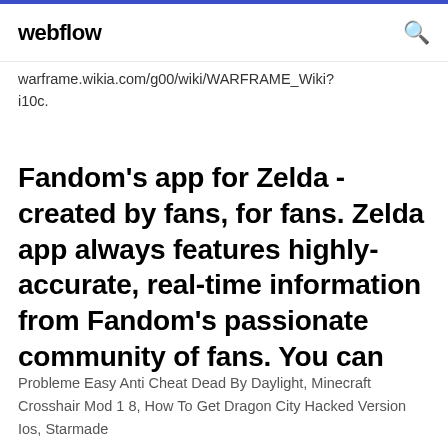webflow
warframe.wikia.com/g00/wiki/WARFRAME_Wiki?i10c.
Fandom's app for Zelda - created by fans, for fans. Zelda app always features highly-accurate, real-time information from Fandom's passionate community of fans. You can
Probleme Easy Anti Cheat Dead By Daylight, Minecraft Crosshair Mod 1 8, How To Get Dragon City Hacked Version Ios, Starmade